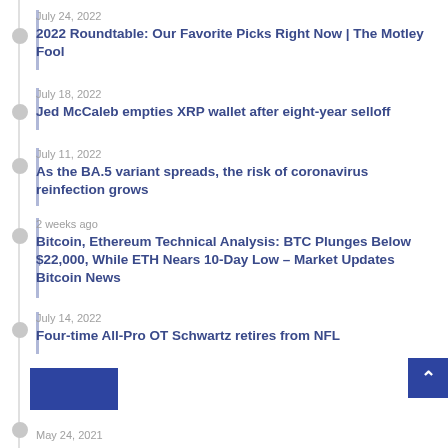July 24, 2022 — 2022 Roundtable: Our Favorite Picks Right Now | The Motley Fool
July 18, 2022 — Jed McCaleb empties XRP wallet after eight-year selloff
July 11, 2022 — As the BA.5 variant spreads, the risk of coronavirus reinfection grows
2 weeks ago — Bitcoin, Ethereum Technical Analysis: BTC Plunges Below $22,000, While ETH Nears 10-Day Low – Market Updates Bitcoin News
July 14, 2022 — Four-time All-Pro OT Schwartz retires from NFL
May 24, 2021